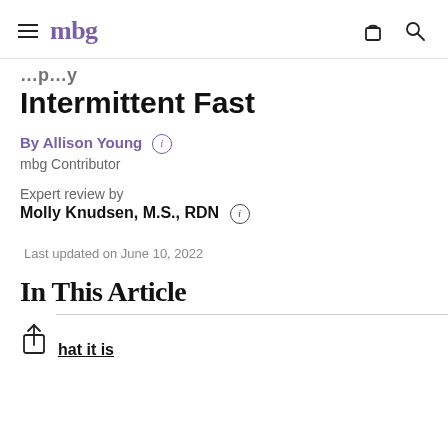mbg
Intermittent Fast
By Allison Young
mbg Contributor
Expert review by
Molly Knudsen, M.S., RDN
Last updated on June 10, 2022
In This Article
hat it is